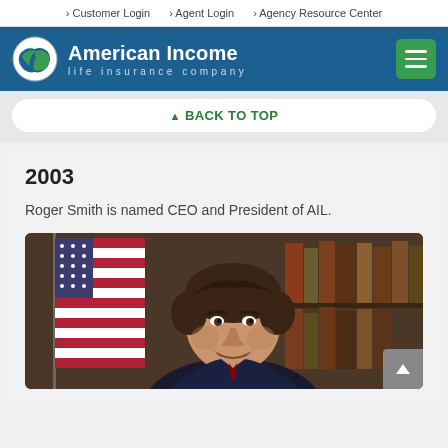> Customer Login  > Agent Login  > Agency Resource Center
[Figure (logo): American Income Life Insurance Company logo with globe icon on blue header bar with hamburger menu button]
▲ BACK TO TOP
2003
Roger Smith is named CEO and President of AIL.
[Figure (photo): Portrait photo of Roger Smith, a middle-aged man with dark hair, smiling, with an American flag and bookshelves visible in the background]